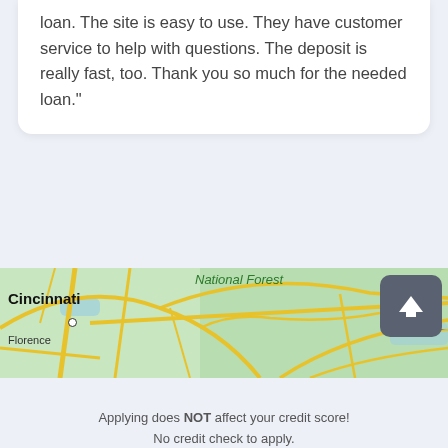loan. The site is easy to use. They have customer service to help with questions. The deposit is really fast, too. Thank you so much for the needed loan."
[Figure (map): Street/road map showing Cincinnati area and National Forest region with yellow road lines on green background]
Apply Now
Applying does NOT affect your credit score!
No credit check to apply.